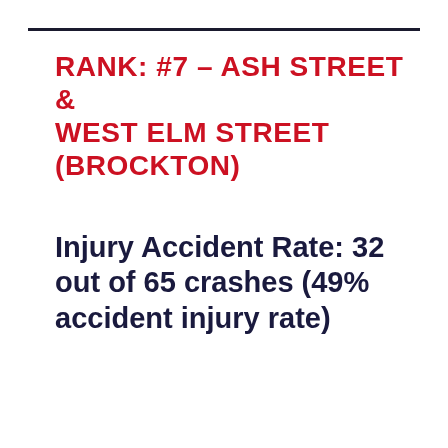RANK: #7 – ASH STREET & WEST ELM STREET (BROCKTON)
Injury Accident Rate: 32 out of 65 crashes (49% accident injury rate)